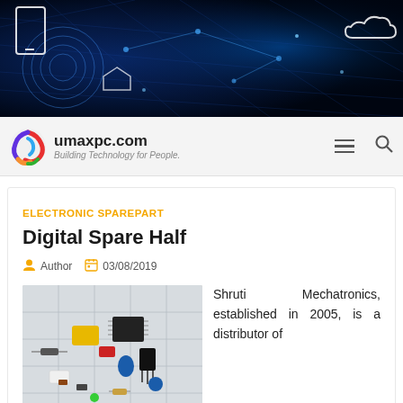[Figure (illustration): Dark blue technology/network hero banner with glowing digital icons, circuit lines, smartphone, cloud, and IoT device illustrations]
umaxpc.com — Building Technology for People.
ELECTRONIC SPAREPART
Digital Spare Half
Author  03/08/2019
[Figure (photo): Photo of assorted electronic spare parts/components including capacitors, ICs, resistors, transistors scattered on a circuit board schematic]
Shruti Mechatronics, established in 2005, is a distributor of